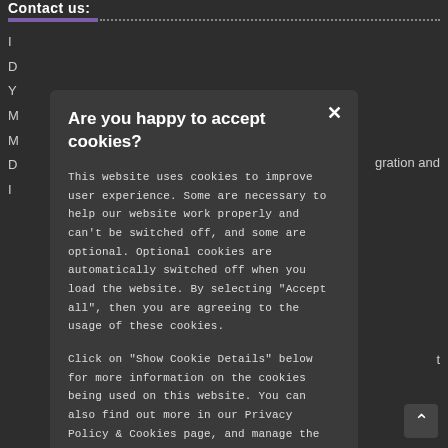Contact us:
[Figure (other): Progress bar with purple filled section and dotted remainder]
D
Y
M
M
D
I
gration and
[Figure (screenshot): Cookie consent modal dialog on dark background]
Are you happy to accept cookies?
This website uses cookies to improve user experience. Some are necessary to help our website work properly and can't be switched off, and some are optional. Optional cookies are automatically switched off when you load the website. By selecting "Accept all", then you are agreeing to the usage of these cookies.
Click on "Show Cookie Details" below for more information on the cookies being used on this website. You can also find out more in our Privacy Policy & Cookies page, and manage the choices available to you at any time by going to "Cookie settings" at the